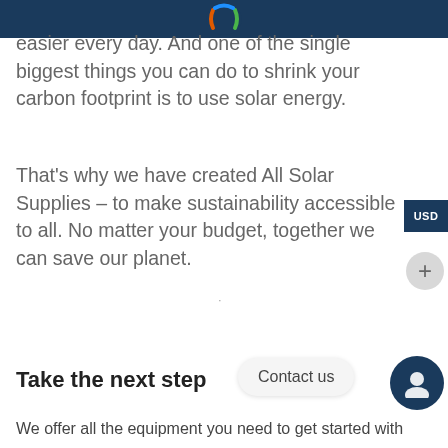[Figure (logo): Colorful logo partially visible at top center of dark blue header bar]
easier every day. And one of the single biggest things you can do to shrink your carbon footprint is to use solar energy.
That's why we have created All Solar Supplies – to make sustainability accessible to all. No matter your budget, together we can save our planet.
Take the next step
We offer all the equipment you need to get started with